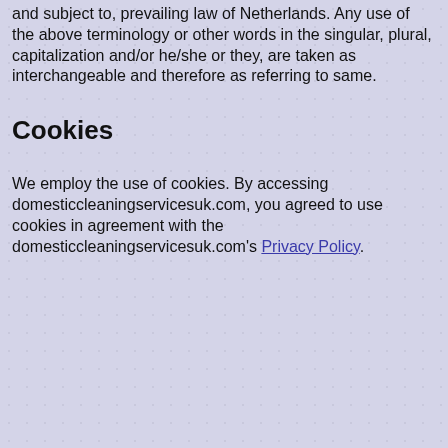and subject to, prevailing law of Netherlands. Any use of the above terminology or other words in the singular, plural, capitalization and/or he/she or they, are taken as interchangeable and therefore as referring to same.
Cookies
We employ the use of cookies. By accessing domesticcleaningservicesuk.com, you agreed to use cookies in agreement with the domesticcleaningservicesuk.com's Privacy Policy.